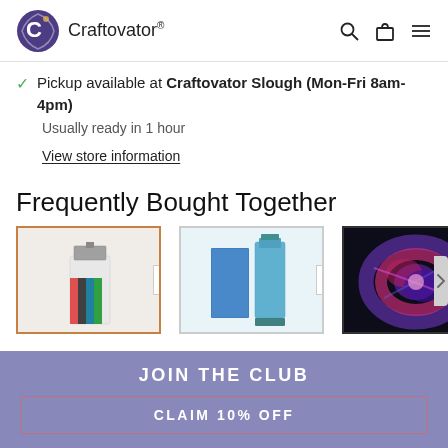Craftovator®
Pickup available at Craftovator Slough (Mon-Fri 8am-4pm)
Usually ready in 1 hour
View store information
Frequently Bought Together
[Figure (photo): Three product images shown side by side: a perfume bottle with colorful stripes, a blue fragrance set, and a dark abstract glowing image, representing frequently bought together products on an e-commerce page.]
JOIN THE CLUB
CLAIM 10% OFF